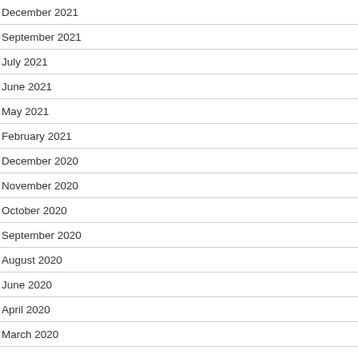December 2021
September 2021
July 2021
June 2021
May 2021
February 2021
December 2020
November 2020
October 2020
September 2020
August 2020
June 2020
April 2020
March 2020